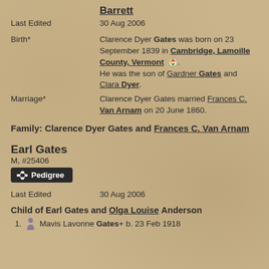Barrett
Last Edited   30 Aug 2006
Birth*   Clarence Dyer Gates was born on 23 September 1839 in Cambridge, Lamoille County, Vermont. He was the son of Gardner Gates and Clara Dyer.
Marriage*   Clarence Dyer Gates married Frances C. Van Arnam on 20 June 1860.
Family: Clarence Dyer Gates and Frances C. Van Arnam
Earl Gates
M, #25406
Last Edited   30 Aug 2006
Child of Earl Gates and Olga Louise Anderson
1.   Mavis Lavonne Gates+  b. 23 Feb 1918